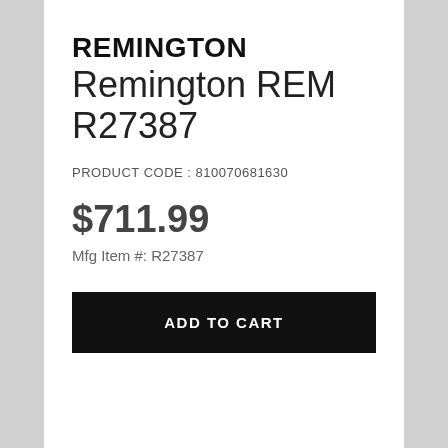REMINGTON
Remington REM R27387
PRODUCT CODE : 810070681630
$711.99
Mfg Item #: R27387
ADD TO CART